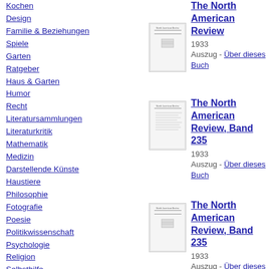Kochen
Design
Familie & Beziehungen
Spiele
Garten
Ratgeber
Haus & Garten
Humor
Recht
Literatursammlungen
Literaturkritik
Mathematik
Medizin
Darstellende Künste
Haustiere
Philosophie
Fotografie
Poesie
Politikwissenschaft
Psychologie
Religion
Selbsthilfe
[Figure (illustration): Thumbnail of The North American Review book cover, first entry]
The North American Review
1933
Auszug - Über dieses Buch
[Figure (illustration): Thumbnail of The North American Review, Band 235 book cover, second entry]
The North American Review, Band 235
1933
Auszug - Über dieses Buch
[Figure (illustration): Thumbnail of The North American Review, Band 235 book cover, third entry]
The North American Review, Band 235
1933
Auszug - Über dieses Buch